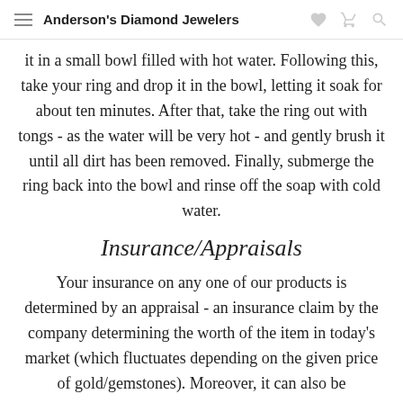Anderson's Diamond Jewelers
it in a small bowl filled with hot water. Following this, take your ring and drop it in the bowl, letting it soak for about ten minutes. After that, take the ring out with tongs - as the water will be very hot - and gently brush it until all dirt has been removed. Finally, submerge the ring back into the bowl and rinse off the soap with cold water.
Insurance/Appraisals
Your insurance on any one of our products is determined by an appraisal - an insurance claim by the company determining the worth of the item in today's market (which fluctuates depending on the given price of gold/gemstones). Moreover, it can also be